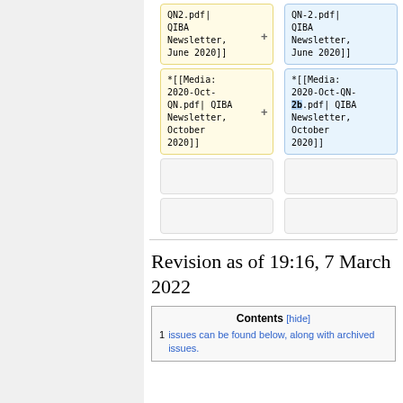[Figure (screenshot): Diff view showing two columns of wiki markup boxes. Left column (yellow) shows *[[Media:2020-Oct-QN.pdf| QIBA Newsletter, October 2020]] with minus marker. Right column (blue) shows *[[Media:2020-Oct-QN-2b.pdf| QIBA Newsletter, October 2020]] with plus marker and '2b' highlighted in blue. Empty boxes below.]
Revision as of 19:16, 7 March 2022
| Contents | [hide] |
| --- | --- |
| 1 | issues can be found below, along with archived issues. |